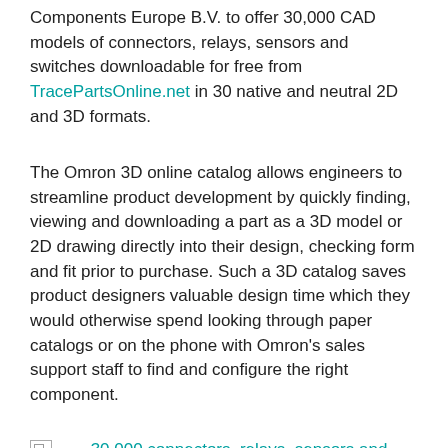Components Europe B.V. to offer 30,000 CAD models of connectors, relays, sensors and switches downloadable for free from TracePartsOnline.net in 30 native and neutral 2D and 3D formats.
The Omron 3D online catalog allows engineers to streamline product development by quickly finding, viewing and downloading a part as a 3D model or 2D drawing directly into their design, checking form and fit prior to purchase. Such a 3D catalog saves product designers valuable design time which they would otherwise spend looking through paper catalogs or on the phone with Omron's sales support staff to find and configure the right component.
[Figure (illustration): Broken image placeholder icon with caption: 30,000 connectors, relays, sensors and switches available for free download from TracePartsOnline.net]
30,000 connectors, relays, sensors and switches available for free download from TracePartsOnline.net